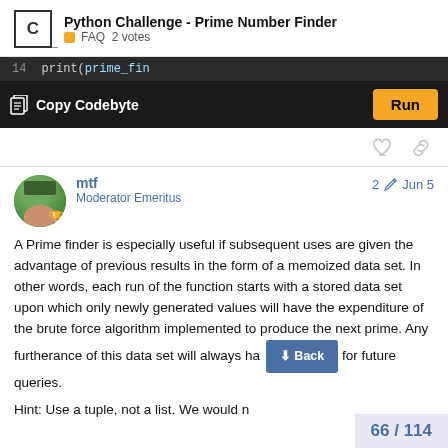Python Challenge - Prime Number Finder
FAQ 2 votes
[Figure (screenshot): Code editor screenshot showing line 14 with print(prime_fin... and Copy Codebyte / Run buttons]
mtf
Moderator Emeritus
2 Jun 5
A Prime finder is especially useful if subsequent uses are given the advantage of previous results in the form of a memoized data set. In other words, each run of the function starts with a stored data set upon which only newly generated values will have the expenditure of the brute force algorithm implemented to produce the next prime. Any furtherance of this data set will always ha for future queries.
Hint: Use a tuple, not a list. We would n